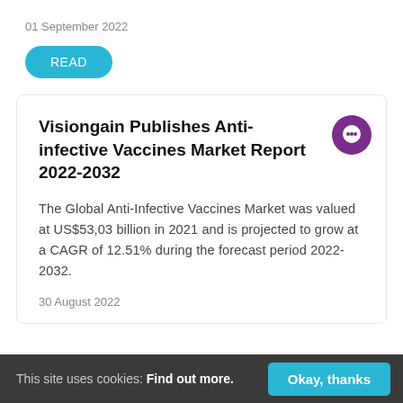01 September 2022
READ
Visiongain Publishes Anti-infective Vaccines Market Report 2022-2032
The Global Anti-Infective Vaccines Market was valued at US$53,03 billion in 2021 and is projected to grow at a CAGR of 12.51% during the forecast period 2022-2032.
30 August 2022
This site uses cookies: Find out more. Okay, thanks